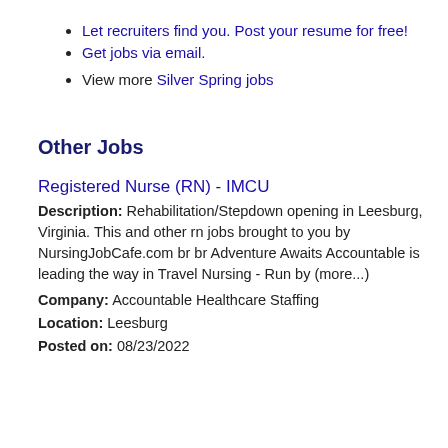Let recruiters find you. Post your resume for free!
Get jobs via email.
View more Silver Spring jobs
Other Jobs
Registered Nurse (RN) - IMCU
Description: Rehabilitation/Stepdown opening in Leesburg, Virginia. This and other rn jobs brought to you by NursingJobCafe.com br br Adventure Awaits Accountable is leading the way in Travel Nursing - Run by (more...)
Company: Accountable Healthcare Staffing
Location: Leesburg
Posted on: 08/23/2022